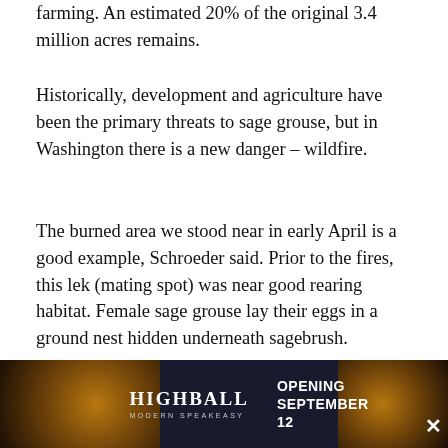farming. An estimated 20% of the original 3.4 million acres remains.
Historically, development and agriculture have been the primary threats to sage grouse, but in Washington there is a new danger – wildfire.
The burned area we stood near in early April is a good example, Schroeder said. Prior to the fires, this lek (mating spot) was near good rearing habitat. Female sage grouse lay their eggs in a ground nest hidden underneath sagebrush.
“Where is a female going to nest in an area that’s burned this bad?” Schroeder asked, gesturing to the emptied landscape. “They may go somewhere else. And if they go somewhere else, it’s possible that some of the males may go som
[Figure (other): Advertisement banner for Highball Modern Speakeasy, opening September 12, with dark background and cocktail imagery]